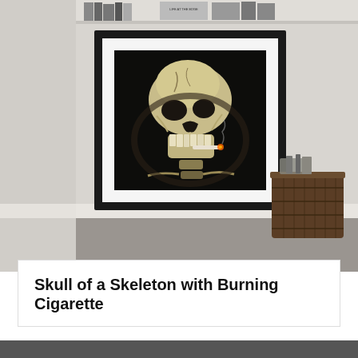[Figure (photo): A framed print of Van Gogh's 'Skull of a Skeleton with Burning Cigarette' painting displayed on a shelf or floor against a white wall. A wicker basket is visible to the right of the frame. Books are visible on a shelf in the background.]
Skull of a Skeleton with Burning Cigarette